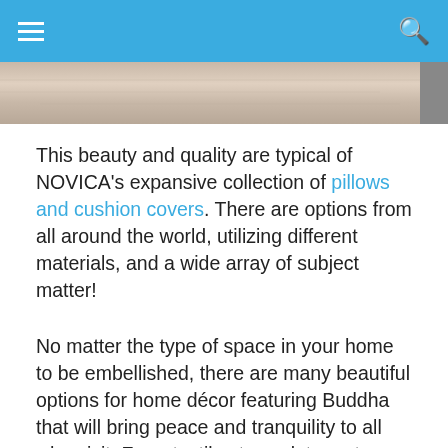Navigation bar with hamburger menu and search icon
[Figure (photo): Partial image of a textured light-colored surface, likely a pillow or cushion, with a small dark square in the top-right corner]
This beauty and quality are typical of NOVICA's expansive collection of pillows and cushion covers. There are options from all around the world, utilizing different materials, and a wide array of subject matter!
No matter the type of space in your home to be embellished, there are many beautiful options for home décor featuring Buddha that will bring peace and tranquility to all who visit. From textiles to sculptures to paintings, there's something for everyone who seeks him!